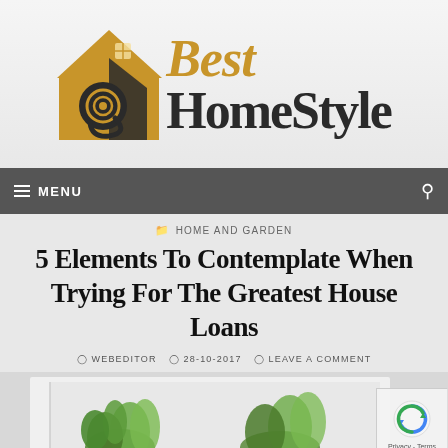[Figure (logo): Best HomeStyle website logo with orange/gold house icon and serif text]
MENU
HOME AND GARDEN
5 Elements To Contemplate When Trying For The Greatest House Loans
WEBEDITOR  28-10-2017  LEAVE A COMMENT
[Figure (photo): Partial photo of green plants/herbs against white background]